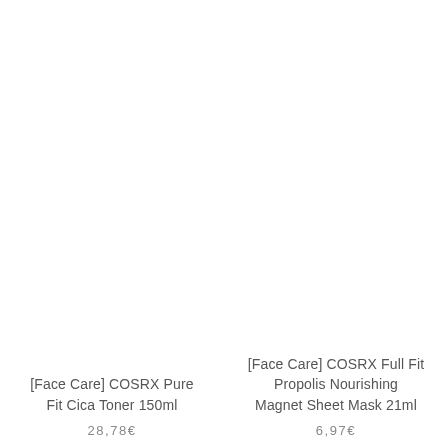[Face Care] COSRX Pure Fit Cica Toner 150ml
28,78€
[Face Care] COSRX Full Fit Propolis Nourishing Magnet Sheet Mask 21ml
6,97€